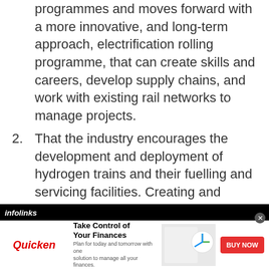programmes and moves forward with a more innovative, and long-term approach, electrification rolling programme, that can create skills and careers, develop supply chains, and work with existing rail networks to manage projects.
2. That the industry encourages the development and deployment of hydrogen trains and their fuelling and servicing facilities. Creating and supporting demonstration lines and trains will help to de-risk the technologies and servicing relating to